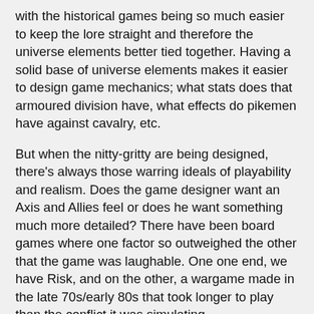with the historical games being so much easier to keep the lore straight and therefore the universe elements better tied together. Having a solid base of universe elements makes it easier to design game mechanics; what stats does that armoured division have, what effects do pikemen have against cavalry, etc.
But when the nitty-gritty are being designed, there's always those warring ideals of playability and realism. Does the game designer want an Axis and Allies feel or does he want something much more detailed? There have been board games where one factor so outweighed the other that the game was laughable. One one end, we have Risk, and on the other, a wargame made in the late 70s/early 80s that took longer to play than the conflict it was simulating.